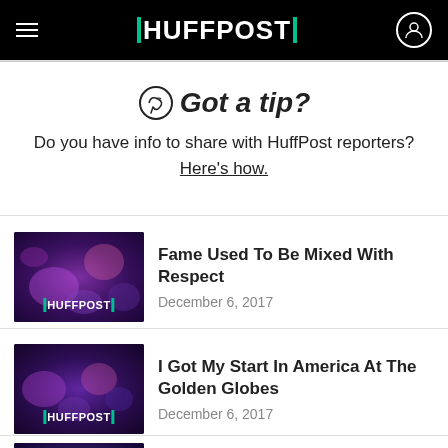HUFFPOST
🤫 Got a tip?
Do you have info to share with HuffPost reporters? Here's how.
Fame Used To Be Mixed With Respect — December 6, 2017
I Got My Start In America At The Golden Globes — December 6, 2017
Show Biz